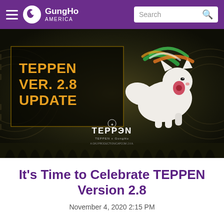GungHo AMERICA — Search
[Figure (screenshot): TEPPEN Ver. 2.8 Update promotional banner featuring a white wolf character with colorful streaks, with the TEPPEN logo at the bottom center, set against a dark fantasy background with gear/mandala motifs]
It's Time to Celebrate TEPPEN Version 2.8
November 4, 2020 2:15 PM